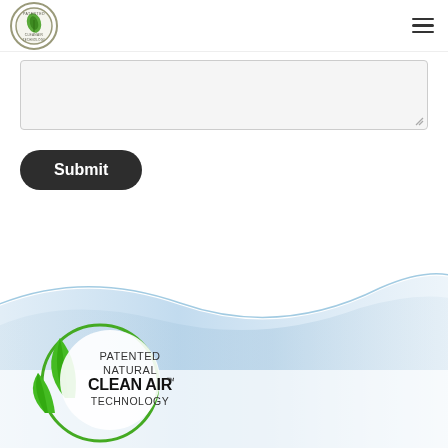[Figure (logo): Clean Air Technology circular logo with leaf icon in header]
[Figure (other): Hamburger menu icon (three horizontal lines) in top right]
[Figure (other): Gray text input/textarea box with resize handle]
[Figure (other): Dark rounded Submit button]
[Figure (illustration): Light blue wave or water ripple decorative background element spanning the lower half of the page]
[Figure (logo): Patented Natural Clean Air Technology circular logo with green leaves, lower portion of page. Text reads: PATENTED NATURAL CLEANAIR TM TECHNOLOGY]